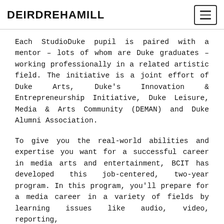DEIRDREHAMILL
Each StudioDuke pupil is paired with a mentor – lots of whom are Duke graduates – working professionally in a related artistic field. The initiative is a joint effort of Duke Arts, Duke's Innovation & Entrepreneurship Initiative, Duke Leisure, Media & Arts Community (DEMAN) and Duke Alumni Association.
To give you the real-world abilities and expertise you want for a successful career in media arts and entertainment, BCIT has developed this job-centered, two-year program. In this program, you'll prepare for a media career in a variety of fields by learning issues like audio, video, reporting,